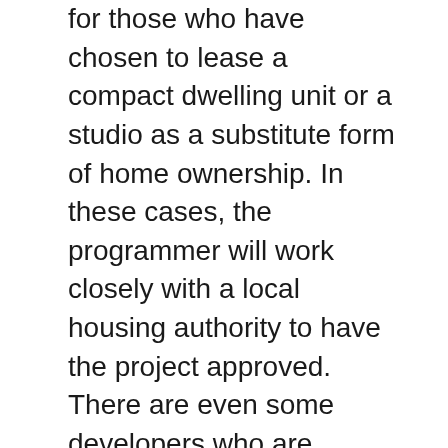for those who have chosen to lease a compact dwelling unit or a studio as a substitute form of home ownership. In these cases, the programmer will work closely with a local housing authority to have the project approved. There are even some developers who are helping to construct or remodel cheap housing units and paying to the construction expenses from their own pocket due to the tax breaks they can get if the growth is considered to be a low income housing project.
If you're thinking about converting your existing apartment into one of these types of dwelling spaces, it is important that you think about the benefits that you will get by converting your flat into one of these